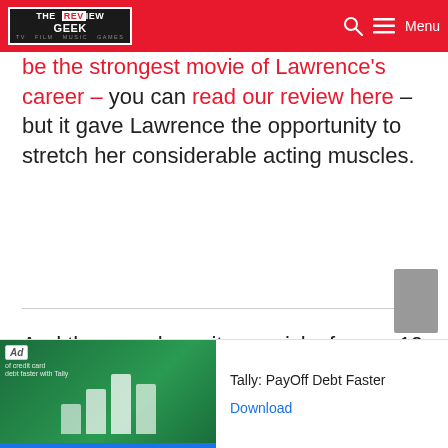THE REVIEW GEEK — TV FILM MUSIC GAMES
news of a sequel for this brutal spy thriller. This might be the strongest movie of Lawrence's career – you can read our review here – but it gave Lawrence the opportunity to stretch her considerable acting muscles.
And there we have it, our picks for our 10 favourite Jennifer Lawrence movies!
[Figure (other): Advertisement banner: Tally PayOff Debt Faster ad with green creative and Download button]